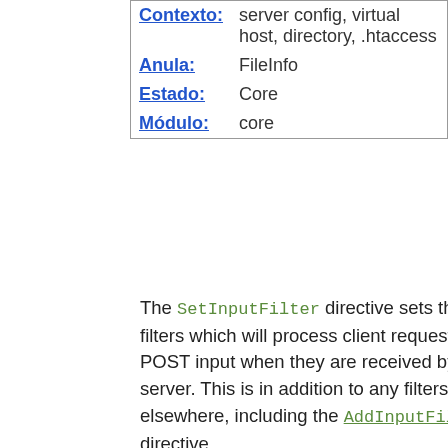| Contexto: | server config, virtual host, directory, .htaccess |
| Anula: | FileInfo |
| Estado: | Core |
| Módulo: | core |
The SetInputFilter directive sets the filter or filters which will process client requests and POST input when they are received by the server. This is in addition to any filters defined elsewhere, including the AddInputFilter directive.
If more than one filter is specified, they must be separated by semicolons in the order in which they should process the content.